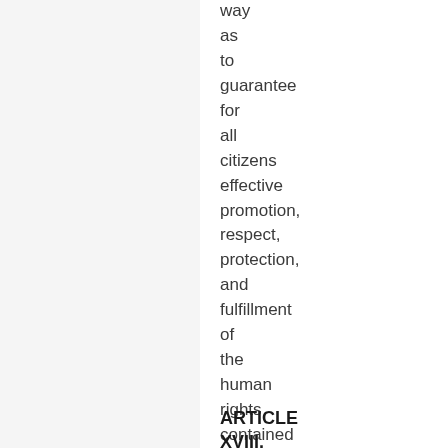way as to guarantee for all citizens effective promotion, respect, protection, and fulfillment of the human rights contained in this Charter.
ARTICLE XVIII.